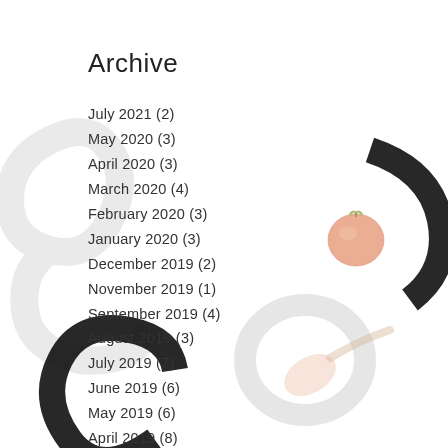[Figure (illustration): Decorative background showing large light gray stylized letters forming a food blog logo/wordmark with a small tomato illustration, partially visible]
Archive
July 2021 (2)
May 2020 (3)
April 2020 (3)
March 2020 (4)
February 2020 (3)
January 2020 (3)
December 2019 (2)
November 2019 (1)
September 2019 (4)
August 2019 (3)
July 2019 (7)
June 2019 (6)
May 2019 (6)
April 2019 (8)
March 2019 (4)
February 2019 (4)